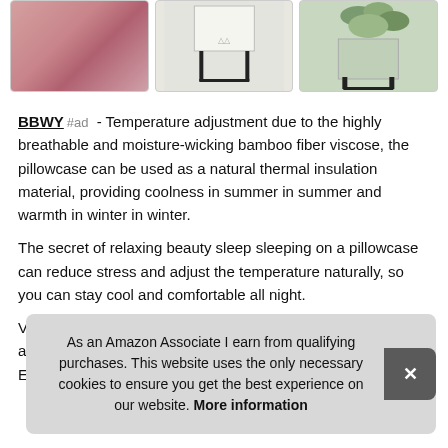[Figure (photo): Three product thumbnail images in a row: a pink fabric/pillowcase, a white pillowcase on a black table stand, and a green leaf-patterned pillowcase on a black table stand]
BBWY #ad - Temperature adjustment due to the highly breathable and moisture-wicking bamboo fiber viscose, the pillowcase can be used as a natural thermal insulation material, providing coolness in summer in summer and warmth in winter in winter.
The secret of relaxing beauty sleep sleeping on a pillowcase can reduce stress and adjust the temperature naturally, so you can stay cool and comfortable all night.
Vari... are... Excellent bright colors, anti-fading.
As an Amazon Associate I earn from qualifying purchases. This website uses the only necessary cookies to ensure you get the best experience on our website. More information